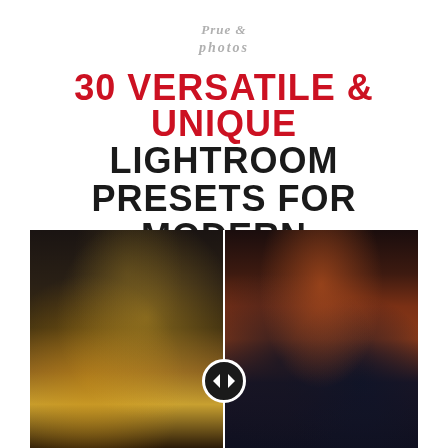[Figure (logo): Stylized cursive/handwritten logo text in light gray, appears to say a brand name in two lines]
30 VERSATILE & UNIQUE LIGHTROOM PRESETS FOR MODERN PHOTOGRAPHERS
[Figure (photo): Split before/after image comparison of two dark, moody photographs. Left photo shows a blurry interior scene with warm golden/amber tones and a figure. Right photo shows a dark interior with a reddish-orange pendant lamp. A vertical white divider line with a circular arrow icon in the center separates the two images.]